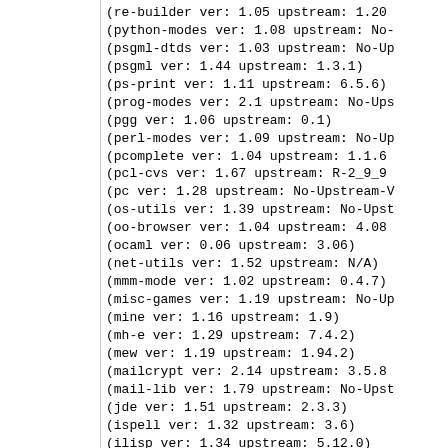(re-builder ver: 1.05 upstream: 1.20
(python-modes ver: 1.08 upstream: No-
(psgml-dtds ver: 1.03 upstream: No-Up
(psgml ver: 1.44 upstream: 1.3.1)
(ps-print ver: 1.11 upstream: 6.5.6)
(prog-modes ver: 2.1 upstream: No-Ups
(pgg ver: 1.06 upstream: 0.1)
(perl-modes ver: 1.09 upstream: No-Up
(pcomplete ver: 1.04 upstream: 1.1.6
(pcl-cvs ver: 1.67 upstream: R-2_9_9
(pc ver: 1.28 upstream: No-Upstream-V
(os-utils ver: 1.39 upstream: No-Upst
(oo-browser ver: 1.04 upstream: 4.08
(ocaml ver: 0.06 upstream: 3.06)
(net-utils ver: 1.52 upstream: N/A)
(mmm-mode ver: 1.02 upstream: 0.4.7)
(misc-games ver: 1.19 upstream: No-Up
(mine ver: 1.16 upstream: 1.9)
(mh-e ver: 1.29 upstream: 7.4.2)
(mew ver: 1.19 upstream: 1.94.2)
(mailcrypt ver: 2.14 upstream: 3.5.8
(mail-lib ver: 1.79 upstream: No-Upst
(jde ver: 1.51 upstream: 2.3.3)
(ispell ver: 1.32 upstream: 3.6)
(ilisp ver: 1.34 upstream: 5.12.0)
(igrep ver: 1.14 upstream: 2.111)
(idlwave ver: 1.32 upstream: 5.1)
(ibuffer ver: 1.09 upstream: No-Upst
(hyperbole ver: 1.16 upstream: 4.18)
(hm--html-menus ver: 1.23 upstream: